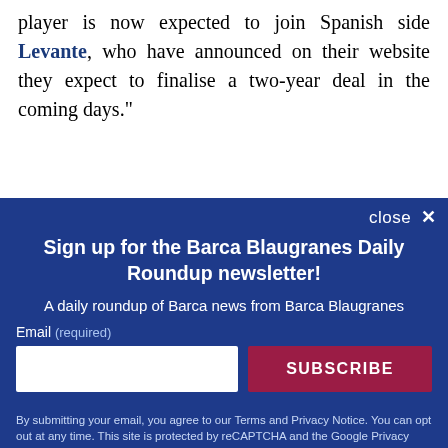player is now expected to join Spanish side Levante, who have announced on their website they expect to finalise a two-year deal in the coming days."
Follow Barca Blaugranes on your preferred social network.
close ×
Sign up for the Barca Blaugranes Daily Roundup newsletter!
A daily roundup of Barca news from Barca Blaugranes
Email (required)
SUBSCRIBE
By submitting your email, you agree to our Terms and Privacy Notice. You can opt out at any time. This site is protected by reCAPTCHA and the Google Privacy Policy and Terms of Service apply.